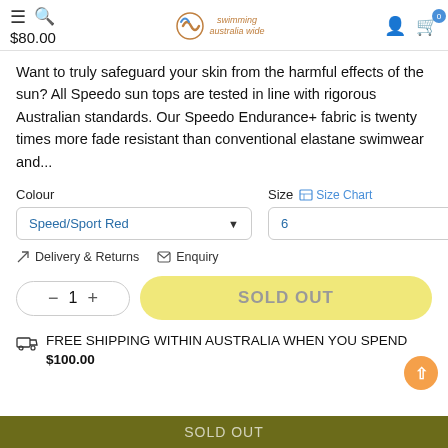$80.00 | Swimming [logo] | user icon | cart (0)
Want to truly safeguard your skin from the harmful effects of the sun? All Speedo sun tops are tested in line with rigorous Australian standards. Our Speedo Endurance+ fabric is twenty times more fade resistant than conventional elastane swimwear and...
Colour: Speed/Sport Red | Size: Size Chart | 6
Delivery & Returns   Enquiry
− 1 +   SOLD OUT
FREE SHIPPING WITHIN AUSTRALIA WHEN YOU SPEND $100.00